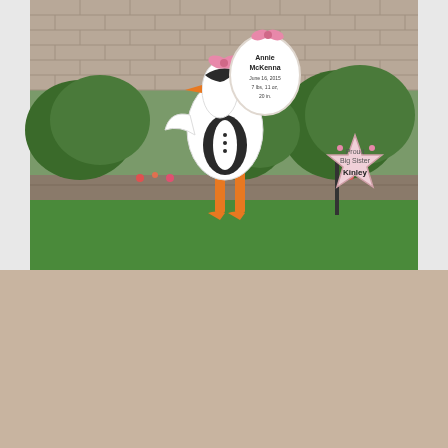[Figure (photo): Outdoor lawn photo showing a decorative stork yard sign carrying a baby bundle with a sign reading 'Annie McKenna June 16, 2015 7 lbs, 11 oz, 20 in.' and a separate star-shaped sign reading 'Proud Big Sister Kinley'. Green shrubs and a brick retaining wall are visible in the background.]
The Stork Stop of Northern Virginia ~ Annandale, Virginia ~ Sibling Signs!
Are you looking for a stork sign rental in Annandale, VA? Please contact The Stork Stop of Northern Virginia at 703-988-1846 for more inf…